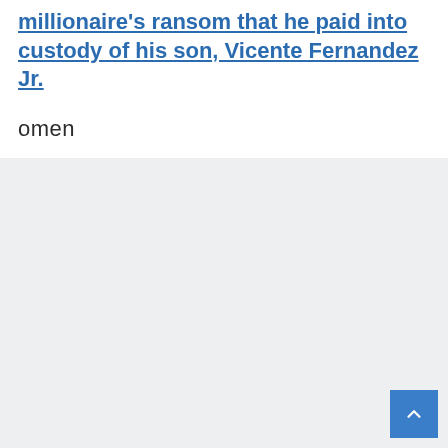millionaire's ransom that he paid into custody of his son, Vicente Fernandez Jr.
omen